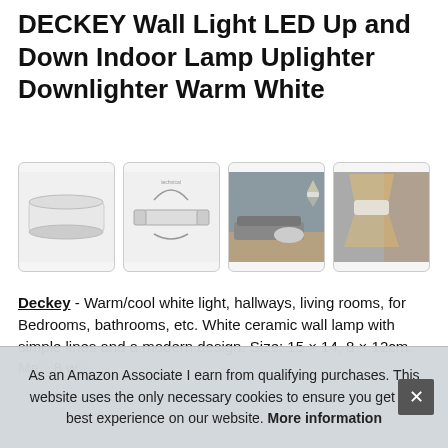DECKEY Wall Light LED Up and Down Indoor Lamp Uplighter Downlighter Warm White
[Figure (photo): Four product images of white ceramic wall lamp: front view of physical product, exploded/technical diagram, lifestyle photo in living room, and close-up with warm glow]
Deckey - Warm/cool white light, hallways, living rooms, for Bedrooms, bathrooms, etc. White ceramic wall lamp with simple lines and a modern design. Size: 15 × 14, 8 × 12cm. Mac... 8 w...
As an Amazon Associate I earn from qualifying purchases. This website uses the only necessary cookies to ensure you get the best experience on our website. More information